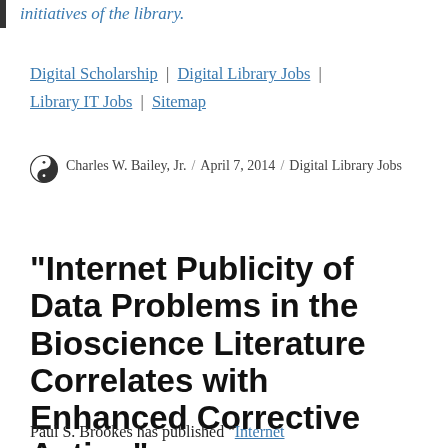initiatives of the library.
Digital Scholarship | Digital Library Jobs | Library IT Jobs | Sitemap
Charles W. Bailey, Jr. / April 7, 2014 / Digital Library Jobs
"Internet Publicity of Data Problems in the Bioscience Literature Correlates with Enhanced Corrective Action"
Paul S. Brookes has published "Internet